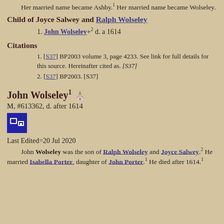Her married name became Ashby.[1] Her married name became Wolseley.
Child of Joyce Salwey and Ralph Wolseley
1. John Wolseley+[2] d. a 1614
Citations
1. [S37] BP2003 volume 3, page 4233. See link for full details for this source. Hereinafter cited as. [S37]
2. [S37] BP2003. [S37]
John Wolseley[1]
M, #613362, d. after 1614
Last Edited=20 Jul 2020
John Wolseley was the son of Ralph Wolseley and Joyce Salwey.[2] He married Isabella Porter, daughter of John Porter.[1] He died after 1614.[1]